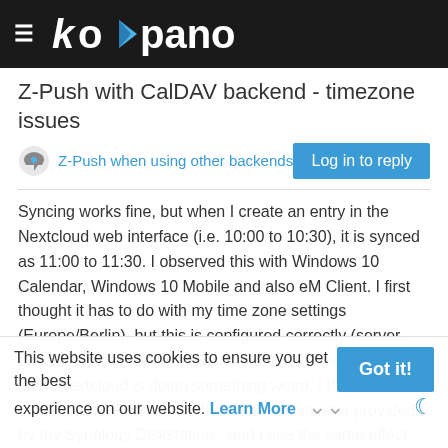Kopano
Z-Push with CalDAV backend - timezone issues
Z-Push when using other backends
Syncing works fine, but when I create an entry in the Nextcloud web interface (i.e. 10:00 to 10:30), it is synced as 11:00 to 11:30. I observed this with Windows 10 Calendar, Windows 10 Mobile and also eM Client. I first thought it has to do with my time zone settings (Europe/Berlin), but this is configured correctly (server, php.ini, z-push.config, Nextcloud and my clients). Next idea: Nextcloud is doing something weird. I then configured Z-Push to use the CalDAV calendar provided by my Synology Diskstation - and I see the same effect. This seems to suggest it is caused by Z-Push. Next thing I noticed: a calendar entry without daylight saving (i.e. in February) is synced fine. So, maybe there is so
This website uses cookies to ensure you get the best experience on our website. Learn More